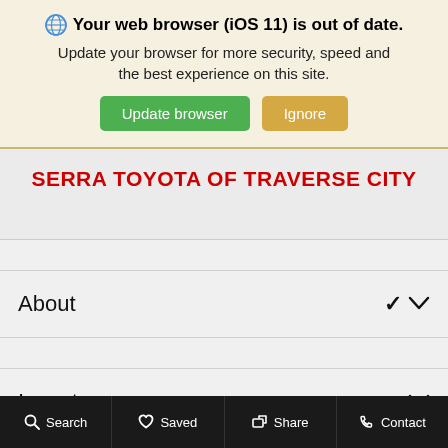[Figure (screenshot): Browser update warning banner with globe icon, bold title 'Your web browser (iOS 11) is out of date.', subtitle text, and two buttons: green 'Update browser' and tan 'Ignore']
SERRA TOYOTA OF TRAVERSE CITY
About
Inventory
Parts & Service
Search   Saved   Share   Contact